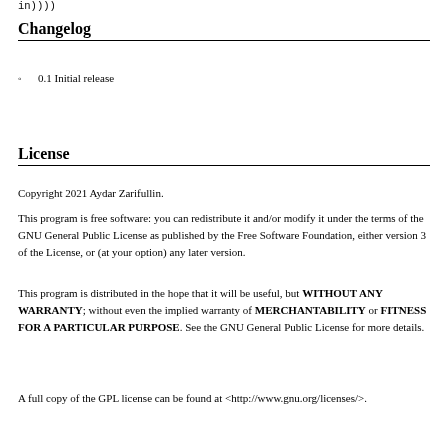in))))
Changelog
0.1 Initial release
License
Copyright 2021 Aydar Zarifullin.
This program is free software: you can redistribute it and/or modify it under the terms of the GNU General Public License as published by the Free Software Foundation, either version 3 of the License, or (at your option) any later version.
This program is distributed in the hope that it will be useful, but WITHOUT ANY WARRANTY; without even the implied warranty of MERCHANTABILITY or FITNESS FOR A PARTICULAR PURPOSE. See the GNU General Public License for more details.
A full copy of the GPL license can be found at <http://www.gnu.org/licenses/>.